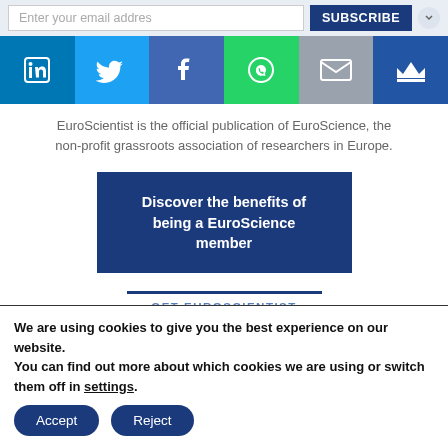[Figure (screenshot): Subscribe bar with email input field placeholder 'Enter your email addres' and a dark blue SUBSCRIBE button]
[Figure (infographic): Social media icons bar: LinkedIn (blue), Twitter (light blue), Facebook (dark blue), WhatsApp (green), Email (grey), Crown (dark blue)]
EuroScientist is the official publication of EuroScience, the non-profit grassroots association of researchers in Europe.
[Figure (infographic): Dark blue CTA button with white bold text: 'Discover the benefits of being a EuroScience member']
GET EUROSCIENTIST
We are using cookies to give you the best experience on our website.
You can find out more about which cookies we are using or switch them off in settings.
[Figure (infographic): Cookie banner Accept and Reject buttons]